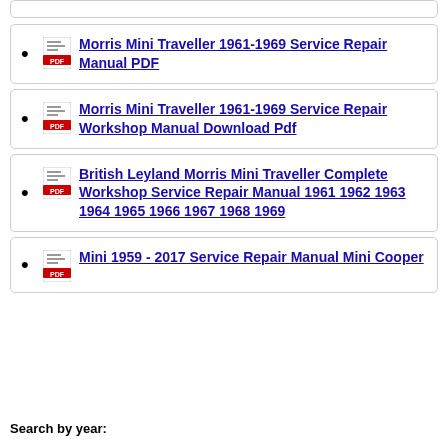Morris Mini Traveller 1961-1969 Service Repair Manual PDF
Morris Mini Traveller 1961-1969 Service Repair Workshop Manual Download Pdf
British Leyland Morris Mini Traveller Complete Workshop Service Repair Manual 1961 1962 1963 1964 1965 1966 1967 1968 1969
Mini 1959 - 2017 Service Repair Manual Mini Cooper
Search by year: